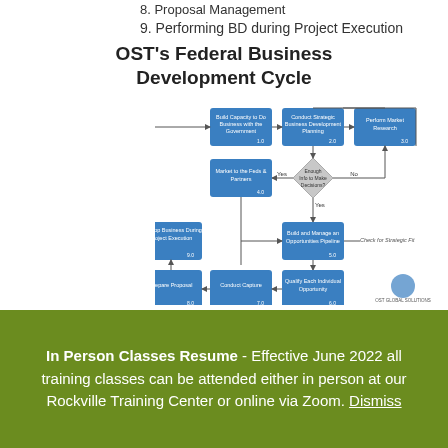8. Proposal Management
9. Performing BD during Project Execution
OST's Federal Business Development Cycle
[Figure (flowchart): OST's Federal Business Development Cycle flowchart showing steps: Begin Business Development Process → Build Capacity to Do Business with the Government (1.0) → Conduct Strategic Business Development Planning (2.0) → Perform Market Research (3.0) → diamond: Enough Info to Make Decisions? → Yes: Market to the Feds & Partners (4.0) → Build and Manage an Opportunities Pipeline (5.0) → Check for Strategic Fit → Qualify Each Individual Opportunity (6.0) → Conduct Capture (7.0) → Prepare Proposal (8.0) → Develop Business During Project Execution (9.0). No from diamond loops back to Perform Market Research.]
In Person Classes Resume - Effective June 2022 all training classes can be attended either in person at our Rockville Training Center or online via Zoom. Dismiss